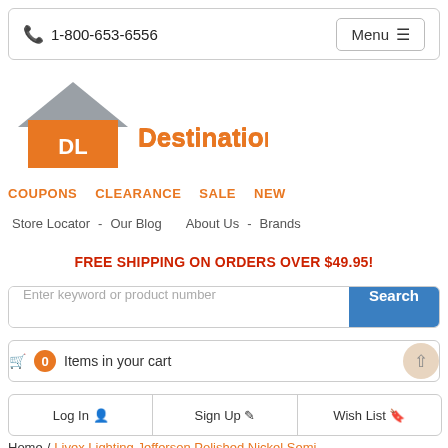📞 1-800-653-6556   Menu ≡
[Figure (logo): Destination Lighting logo with orange DL house icon and gray text]
COUPONS   CLEARANCE   SALE   NEW
Store Locator  -  Our Blog   About Us  -  Brands
FREE SHIPPING ON ORDERS OVER $49.95!
Enter keyword or product number [Search]
🛒 0 Items in your cart
Log In 👤   Sign Up ✏   Wish List 🔖
Home / Livex Lighting Jefferson Polished Nickel Semi-